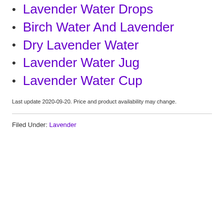Lavender Water Drops
Birch Water And Lavender
Dry Lavender Water
Lavender Water Jug
Lavender Water Cup
Last update 2020-09-20. Price and product availability may change.
Filed Under: Lavender